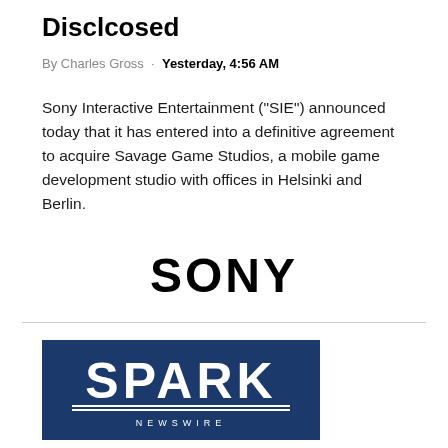Disclcosed
By Charles Gross · Yesterday, 4:56 AM
Sony Interactive Entertainment ("SIE") announced today that it has entered into a definitive agreement to acquire Savage Game Studios, a mobile game development studio with offices in Helsinki and Berlin.
[Figure (logo): SONY wordmark in large bold black text]
[Figure (logo): SPARK NEWSWIRE logo on dark navy blue background with white bold text]